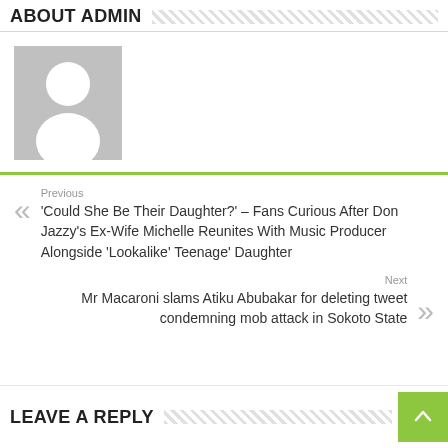ABOUT ADMIN
[Figure (illustration): Generic admin avatar placeholder — grey square with white silhouette of a person (head and shoulders)]
Previous: 'Could She Be Their Daughter?' – Fans Curious After Don Jazzy's Ex-Wife Michelle Reunites With Music Producer Alongside 'Lookalike' Teenage' Daughter
Next: Mr Macaroni slams Atiku Abubakar for deleting tweet condemning mob attack in Sokoto State
LEAVE A REPLY